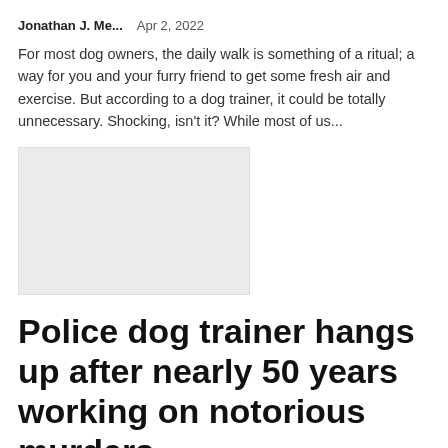Jonathan J. Me...   Apr 2, 2022
For most dog owners, the daily walk is something of a ritual; a way for you and your furry friend to get some fresh air and exercise. But according to a dog trainer, it could be totally unnecessary. Shocking, isn't it? While most of us...
[Figure (photo): Placeholder image rectangle with light gray background]
Police dog trainer hangs up after nearly 50 years working on notorious murders
Jonathan J. Me...   Apr 2, 2022